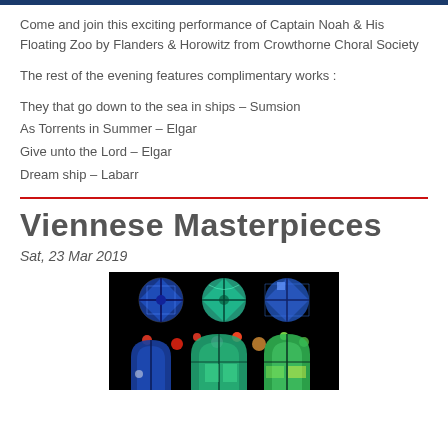Come and join this exciting performance of Captain Noah & His Floating Zoo by Flanders & Horowitz from Crowthorne Choral Society
The rest of the evening features complimentary works :
They that go down to the sea in ships – Sumsion
As Torrents in Summer – Elgar
Give unto the Lord – Elgar
Dream ship – Labarr
Viennese Masterpieces
Sat, 23 Mar 2019
[Figure (photo): Stained glass windows with blue, green, and teal geometric patterns on black background]